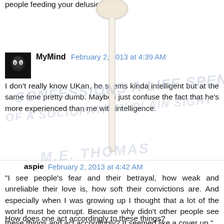people feeding your delusions.
MyMind  February 2, 2013 at 4:39 AM
I don't really know UKan, he seems kinda intelligent but at the same time pretty dumb. Maybe i just confuse the fact that he's more experienced than me with intelligence.
aspie  February 2, 2013 at 4:42 AM
"I see people's fear and their betrayal, how weak and unreliable their love is, how soft their convictions are. And especially when I was growing up I thought that a lot of the world must be corrupt. Because why didn't other people see these things and act accordingly? It seemed like a cover up."
How does one act accordingly to these things?